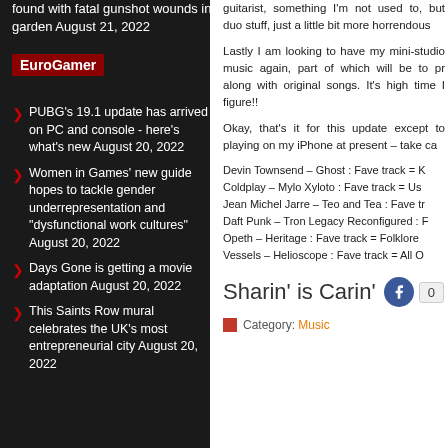found with fatal gunshot wounds in garden August 21, 2022
EuroGamer
PUBG's 19.1 update has arrived on PC and console - here's what's new August 20, 2022
Women in Games' new guide hopes to tackle gender underrepresentation and "dysfunctional work cultures" August 20, 2022
Days Gone is getting a movie adaptation August 20, 2022
This Saints Row mural celebrates the UK's most entrepreneurial city August 20, 2022
guitarist, something I'm not used to, but duo stuff, just a little bit more horrendous
Lastly I am looking to have my mini-studio music again, part of which will be to pr along with original songs. It's high time I figure!!
Okay, that's it for this update except to playing on my iPhone at present – take ca
Devin Townsend – Ghost : Fave track = K
Coldplay – Mylo Xyloto : Fave track = Us
Jean Michel Jarre – Teo and Tea : Fave tr
Daft Punk – Tron Legacy Reconfigured : F
Opeth – Heritage : Fave track = Folklore
Vessels – Helioscope : Fave track = All O
Sharin' is Carin'
Category: Music